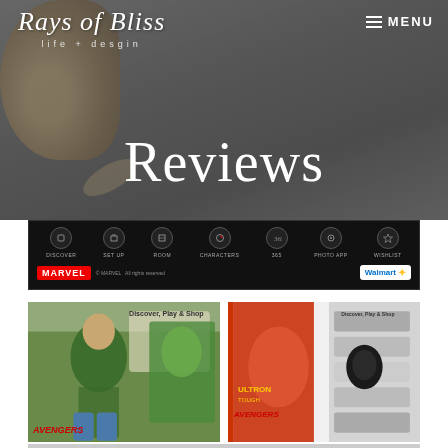[Figure (screenshot): Rays of Bliss blog header hero image with dark grey background, coffee cup partially visible at top left, script logo text reading 'Rays of Bliss' with subtitle 'life + design', and hamburger MENU button top right]
Reviews
[Figure (screenshot): Marvel/Avengers website banner on black background with navigation icons: DISCOVER, SET UP, ROOM, CHARACTERS, 365, PHOTO APP, WISHLIST. Marvel logo bottom left, Walmart badge bottom right.]
[Figure (photo): Two side-by-side photos: left shows a child dressed as the Hulk posing next to a Hulk display in a Walmart toy aisle; right shows a child from behind looking at Iron Man/Avengers toys on store shelves.]
[Figure (screenshot): Partial bottom strip showing additional photo thumbnails cut off at page bottom]